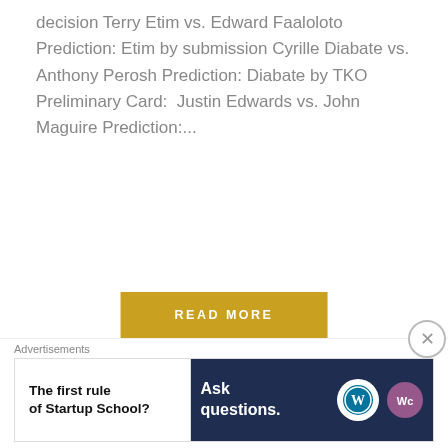decision Terry Etim vs. Edward Faaloloto Prediction: Etim by submission Cyrille Diabate vs. Anthony Perosh Prediction: Diabate by TKO Preliminary Card:  Justin Edwards vs. John Maguire Prediction:...
[Figure (other): Yellow 'READ MORE' button]
[Figure (other): Horizontal divider with centered circle icon containing three horizontal lines]
10/30 MMA Welterweight Division
[Figure (other): Advertisement banner: 'The first rule of Startup School?' on left (white), 'Ask questions.' on right (dark blue) with WordPress and WooCommerce logos. Close button (X) at top right.]